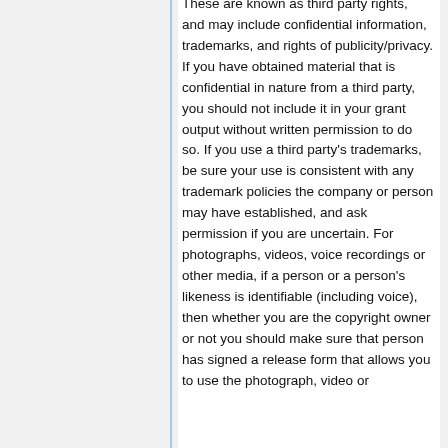These are known as third party rights, and may include confidential information, trademarks, and rights of publicity/privacy. If you have obtained material that is confidential in nature from a third party, you should not include it in your grant output without written permission to do so. If you use a third party's trademarks, be sure your use is consistent with any trademark policies the company or person may have established, and ask permission if you are uncertain. For photographs, videos, voice recordings or other media, if a person or a person's likeness is identifiable (including voice), then whether you are the copyright owner or not you should make sure that person has signed a release form that allows you to use the photograph, video or